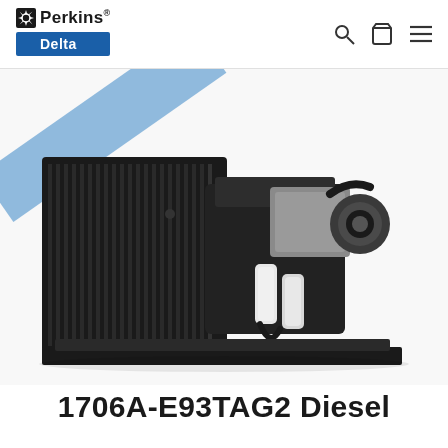Perkins Delta
[Figure (photo): Perkins 1706A-E93TAG2 diesel engine with radiator, shown on white background with a diagonal 'Switchable' banner overlay in blue]
1706A-E93TAG2 Diesel